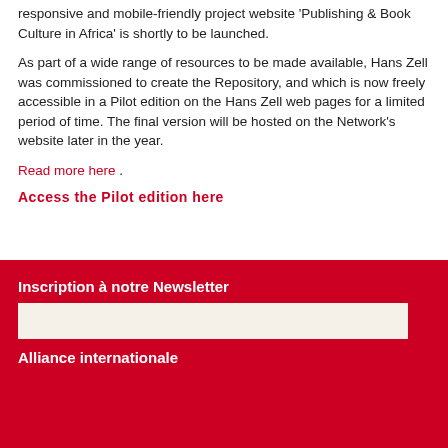responsive and mobile-friendly project website ‘Publishing & Book Culture in Africa’ is shortly to be launched.
As part of a wide range of resources to be made available, Hans Zell was commissioned to create the Repository, and which is now freely accessible in a Pilot edition on the Hans Zell web pages for a limited period of time. The final version will be hosted on the Network’s website later in the year.
Read more here .
Access the Pilot edition here
Inscription à notre Newsletter
Alliance internationale